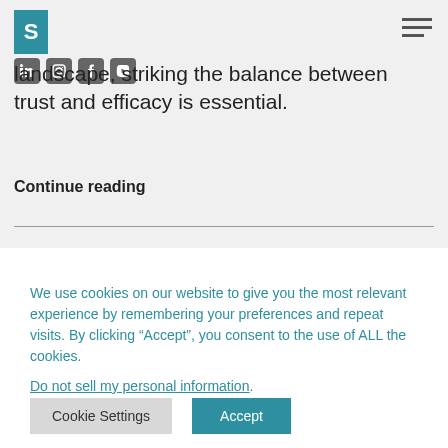S [logo with social icons and hamburger menu]
landscape, striking the balance between trust and efficacy is essential.
Continue reading
We use cookies on our website to give you the most relevant experience by remembering your preferences and repeat visits. By clicking “Accept”, you consent to the use of ALL the cookies.
Do not sell my personal information.